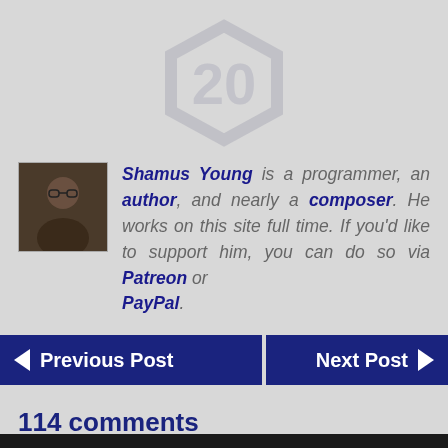[Figure (logo): Hexagonal badge with the number 20 in light gray]
Shamus Young is a programmer, an author, and nearly a composer. He works on this site full time. If you'd like to support him, you can do so via Patreon or PayPal.
Previous Post
Next Post
114 comments